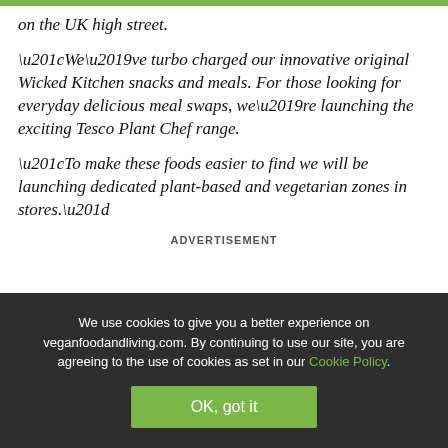on the UK high street.
“We’ve turbo charged our innovative original Wicked Kitchen snacks and meals. For those looking for everyday delicious meal swaps, we’re launching the exciting Tesco Plant Chef range.
“To make these foods easier to find we will be launching dedicated plant-based and vegetarian zones in stores.”
ADVERTISEMENT
[Figure (illustration): Advertisement banner with yellow/gold background showing decorative tropical leaves on left and right sides and 'Vegan Food' text in white italic font in the center.]
We use cookies to give you a better experience on veganfoodandliving.com. By continuing to use our site, you are agreeing to the use of cookies as set in our Cookie Policy.